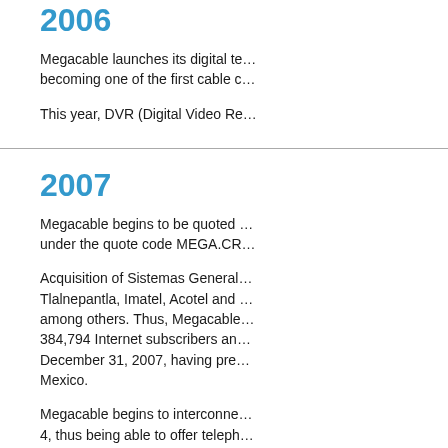2006
Megacable launches its digital te… becoming one of the first cable c…
This year, DVR (Digital Video Re…
2007
Megacable begins to be quoted … under the quote code MEGA.CR…
Acquisition of Sistemas General… Tlalnepantla, Imatel, Acotel and … among others. Thus, Megacable… 384,794 Internet subscribers an… December 31, 2007, having pre… Mexico.
Megacable begins to interconne… 4, thus being able to offer teleph… locations.